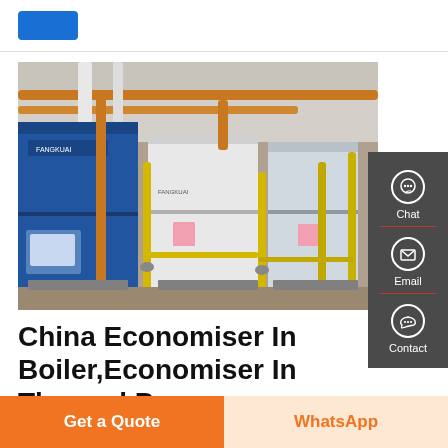[Figure (photo): Industrial boiler room with multiple FANGKUAI brand gas boilers (blue and white units) connected by orange and yellow pipes, installed in a factory setting.]
China Economiser In Boiler,Economiser In Thermal Power ...
[Figure (infographic): Side panel with Chat, Email, and Contact buttons on dark grey background]
Get a Quote
WhatsApp